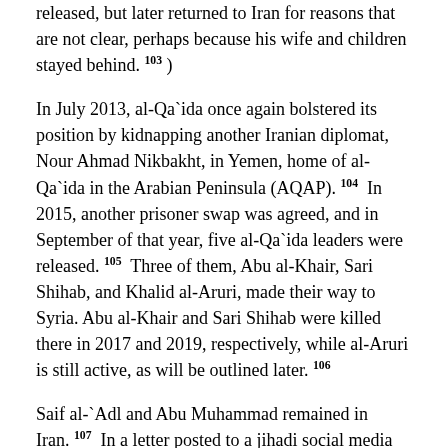released, but later returned to Iran for reasons that are not clear, perhaps because his wife and children stayed behind. 103 )
In July 2013, al-Qa`ida once again bolstered its position by kidnapping another Iranian diplomat, Nour Ahmad Nikbakht, in Yemen, home of al-Qa`ida in the Arabian Peninsula (AQAP). 104  In 2015, another prisoner swap was agreed, and in September of that year, five al-Qa`ida leaders were released. 105  Three of them, Abu al-Khair, Sari Shihab, and Khalid al-Aruri, made their way to Syria. Abu al-Khair and Sari Shihab were killed there in 2017 and 2019, respectively, while al-Aruri is still active, as will be outlined later. 106
Saif al-`Adl and Abu Muhammad remained in Iran. 107  In a letter posted to a jihadi social media channel in 2017, al-Aruri addressed their status. After the prisoner exchange, he says, they "got out of prison. So the two are not detained as is understood and implied from this word, but they are prohibited from travelling until God can grant them an exit.